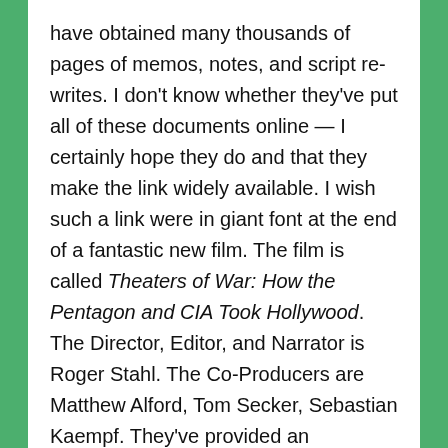have obtained many thousands of pages of memos, notes, and script re-writes. I don't know whether they've put all of these documents online — I certainly hope they do and that they make the link widely available. I wish such a link were in giant font at the end of a fantastic new film. The film is called Theaters of War: How the Pentagon and CIA Took Hollywood. The Director, Editor, and Narrator is Roger Stahl. The Co-Producers are Matthew Alford, Tom Secker, Sebastian Kaempf. They've provided an important public service.
In the film we see copies of and hear quotations from and analysis of much of what has been